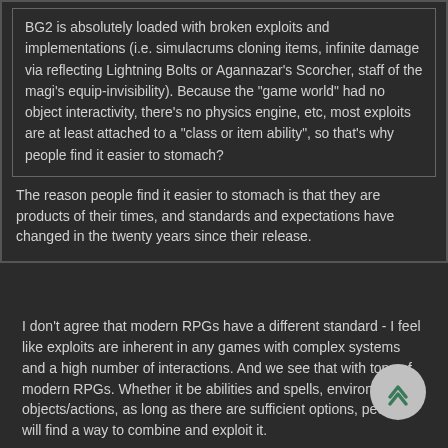BG2 is absolutely loaded with broken exploits and implementations (i.e. simulacrums cloning items, infinite damage via reflecting Lightning Bolts or Agannazar's Scorcher, staff of the magi's equip-invisibility). Because the "game world" had no object interactivity, there's no physics engine, etc, most exploits are at least attached to a "class or item ability", so that's why people find it easier to stomach?
The reason people find it easier to stomach is that they are products of their times, and standards and expectations have changed in the twenty years since their release.
I don't agree that modern RPGs have a different standard - I feel like exploits are inherent in any games with complex systems and a high number of interactions. And we see that with tons of modern RPGs. Whether it be abilities and spells, environment objects/actions, as long as there are sufficient options, people will find a way to combine and exploit it.
The question is more so whether the developers aggressively patch them out when discovered, or simply embrace them. And honestly, for single player RPGs, I've seen the developers lean way more into...